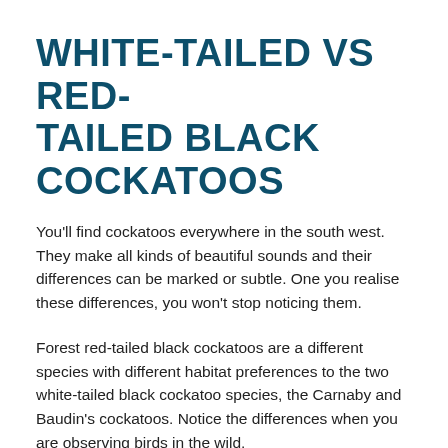WHITE-TAILED VS RED-TAILED BLACK COCKATOOS
You'll find cockatoos everywhere in the south west. They make all kinds of beautiful sounds and their differences can be marked or subtle. One you realise these differences, you won't stop noticing them.
Forest red-tailed black cockatoos are a different species with different habitat preferences to the two white-tailed black cockatoo species, the Carnaby and Baudin's cockatoos. Notice the differences when you are observing birds in the wild.